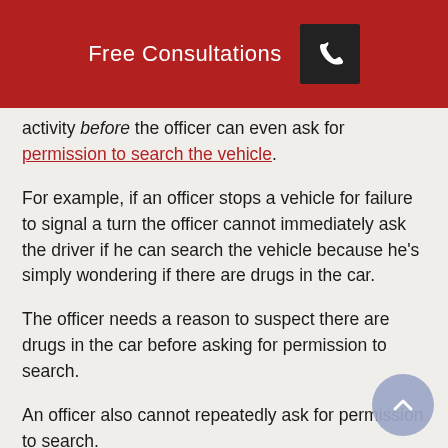Free Consultations
activity before the officer can even ask for permission to search the vehicle.
For example, if an officer stops a vehicle for failure to signal a turn the officer cannot immediately ask the driver if he can search the vehicle because he's simply wondering if there are drugs in the car.
The officer needs a reason to suspect there are drugs in the car before asking for permission to search.
An officer also cannot repeatedly ask for permission to search.
If the driver or owner does not give consent to search after the officer's initial request, the officer cannot ask the owner for permission to